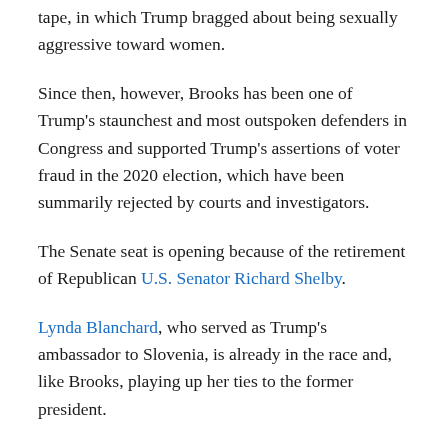tape, in which Trump bragged about being sexually aggressive toward women.
Since then, however, Brooks has been one of Trump's staunchest and most outspoken defenders in Congress and supported Trump's assertions of voter fraud in the 2020 election, which have been summarily rejected by courts and investigators.
The Senate seat is opening because of the retirement of Republican U.S. Senator Richard Shelby.
Lynda Blanchard, who served as Trump's ambassador to Slovenia, is already in the race and, like Brooks, playing up her ties to the former president.
Also considering getting into the Republican primary are Secretary of State John Merrill and Katie Britt, the CEO of